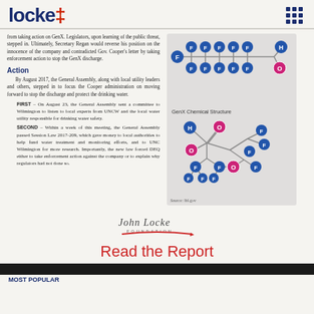locke i
from taking action on GenX. Legislators, upon learning of the public threat, stepped in. Ultimately, Secretary Regan would reverse his position on the innocence of the company and contradicted Gov. Cooper's letter by taking enforcement action to stop the GenX discharge.
Action
By August 2017, the General Assembly, along with local utility leaders and others, stepped in to focus the Cooper administration on moving forward to stop the discharge and protect the drinking water.
FIRST – On August 23, the General Assembly sent a committee to Wilmington to listen to local experts from UNCW and the local water utility responsible for drinking water safety.
SECOND – Within a week of this meeting, the General Assembly passed Session Law 2017-209, which gave money to local authorities to help fund water treatment and monitoring efforts, and to UNC Wilmington for more research. Importantly, the new law forced DEQ either to take enforcement action against the company or to explain why regulators had not done so.
[Figure (illustration): GenX Chemical Structure diagram showing molecular bonds with labeled atoms: F (blue circles), H (blue circle), O (pink/magenta circles) connected by lines representing chemical bonds in two sub-diagrams]
GenX Chemical Structure
Source: lbl.gov
[Figure (logo): John Locke Foundation signature logo in cursive script with red swoosh underline]
Read the Report
MOST POPULAR